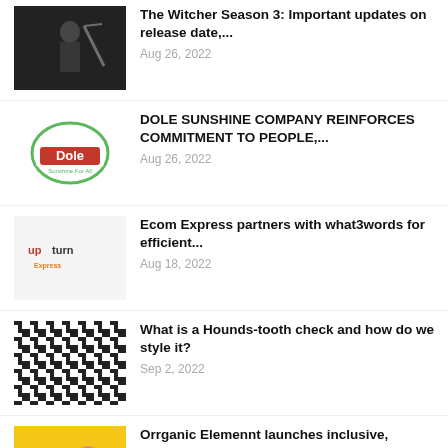The Witcher Season 3: Important updates on release date,...
Aug 26, 2022
DOLE SUNSHINE COMPANY REINFORCES COMMITMENT TO PEOPLE,...
Aug 26, 2022
Ecom Express partners with what3words for efficient...
Aug 18, 2022
What is a Hounds-tooth check and how do we style it?
Sep 2, 2022
Orrganic Elemennt launches inclusive, organic, vegan...
Aug 25, 2022
2022 ITOE – Home Lifestyle Expo Opens,